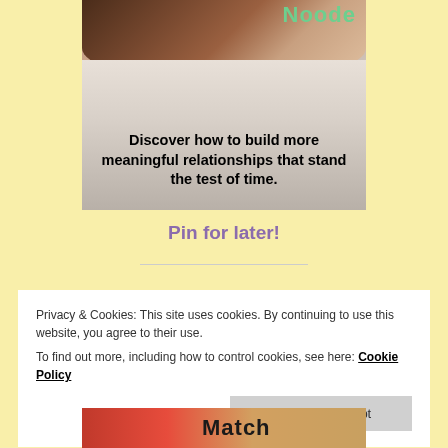[Figure (photo): Photo of two people hugging, with text overlay reading 'Discover how to build more meaningful relationships that stand the test of time.' and partial green title text at top.]
Pin for later!
Privacy & Cookies: This site uses cookies. By continuing to use this website, you agree to their use.
To find out more, including how to control cookies, see here: Cookie Policy
Close and accept
[Figure (photo): Bottom portion of another image showing 'Match' text in bold with a partial photo.]